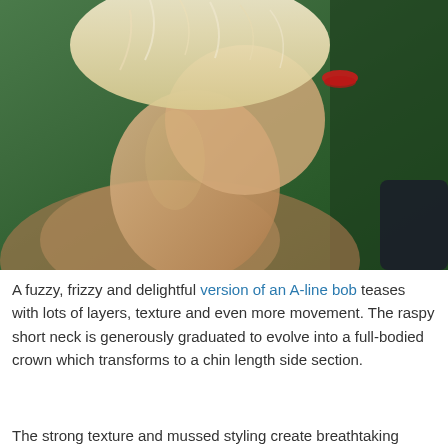[Figure (photo): Side profile of a woman with short, fuzzy blonde hair styled in an A-line bob, red lips, against a green background]
A fuzzy, frizzy and delightful version of an A-line bob teases with lots of layers, texture and even more movement. The raspy short neck is generously graduated to evolve into a full-bodied crown which transforms to a chin length side section.
The strong texture and mussed styling create breathtaking